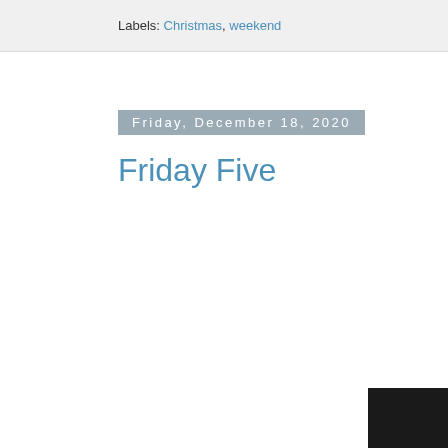Labels: Christmas, weekend
Friday, December 18, 2020
Friday Five
[Figure (photo): Partial view of a photo on the right side of the page, partially cropped, showing a dark/monochrome image with black bars at top and bottom]